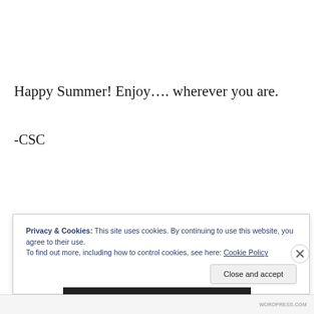Happy Summer! Enjoy…. wherever you are.
-CSC
Privacy & Cookies: This site uses cookies. By continuing to use this website, you agree to their use.
To find out more, including how to control cookies, see here: Cookie Policy
Close and accept